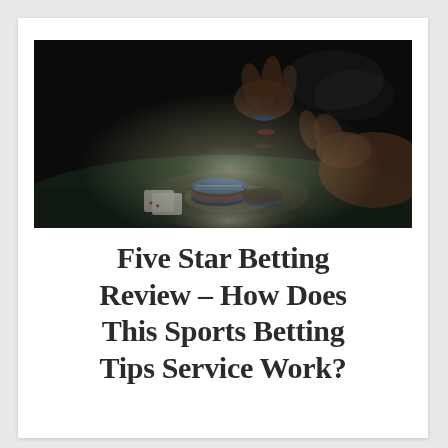[Figure (photo): Dark photo of hands holding poker chips and playing cards on a casino table, with a spotlight illuminating chips being stacked or tossed.]
Five Star Betting Review – How Does This Sports Betting Tips Service Work?